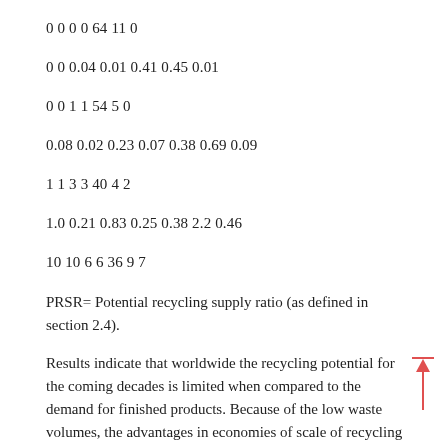0 0 0 0 64 11 0
0 0 0.04 0.01 0.41 0.45 0.01
0 0 1 1 54 5 0
0.08 0.02 0.23 0.07 0.38 0.69 0.09
1 1 3 3 40 4 2
1.0 0.21 0.83 0.25 0.38 2.2 0.46
10 10 6 6 36 9 7
PRSR= Potential recycling supply ratio (as defined in section 2.4).
Results indicate that worldwide the recycling potential for the coming decades is limited when compared to the demand for finished products. Because of the low waste volumes, the advantages in economies of scale of recycling are unlikely to be achieved. The absence of